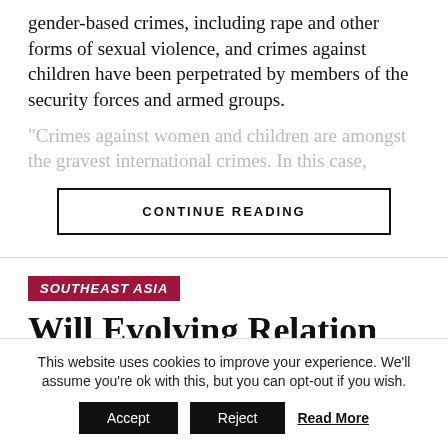gender-based crimes, including rape and other forms of sexual violence, and crimes against children have been perpetrated by members of the security forces and armed groups.
"Crimes against women and children are amongst the gravest international crimes. In this case,
CONTINUE READING
SOUTHEAST ASIA
Will Evolving Relation Between Arakan Army and NUG lead To
This website uses cookies to improve your experience. We'll assume you're ok with this, but you can opt-out if you wish.
Accept  Reject  Read More